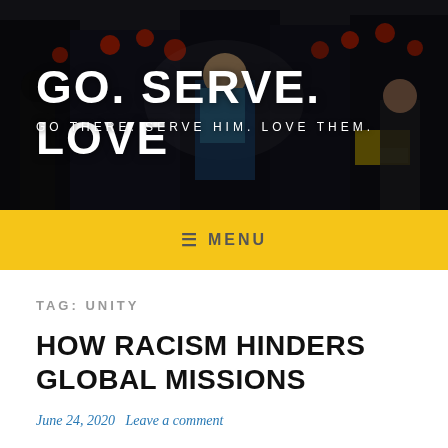[Figure (photo): Header banner image showing a person with a backpack walking through a busy Asian city street at night with red lanterns and signs, overlaid with site title and subtitle text]
GO. SERVE. LOVE
GO THERE. SERVE HIM. LOVE THEM.
≡ MENU
TAG: UNITY
HOW RACISM HINDERS GLOBAL MISSIONS
June 24, 2020   Leave a comment